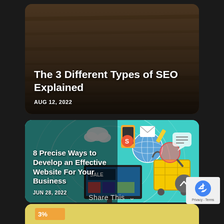[Figure (screenshot): Blog post card with dark wood background image showing title 'The 3 Different Types of SEO Explained' dated AUG 12, 2022]
The 3 Different Types of SEO Explained
AUG 12, 2022
[Figure (illustration): Blog post card with teal background showing e-commerce/digital marketing illustration with shopping cart, globe, mobile phone, envelope icons. Title: '8 Precise Ways to Develop an Effective Website For Your Business', dated JUN 28, 2022]
8 Precise Ways to Develop an Effective Website For Your Business
JUN 28, 2022
Share This
[Figure (screenshot): Partial third card visible at bottom with yellow background]